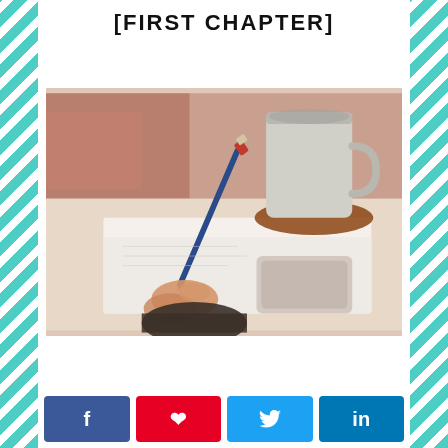[FIRST CHAPTER]
[Figure (photo): A hand holding a pencil writing on paper, with a coffee mug on a coaster in the background, on a desk surface.]
Social share buttons: Facebook, Pinterest, Twitter, LinkedIn